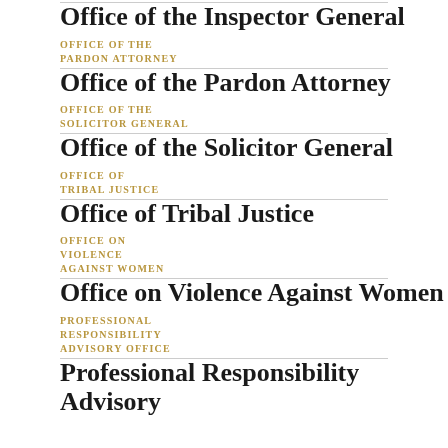Office of the Inspector General
OFFICE OF THE
PARDON ATTORNEY
Office of the Pardon Attorney
OFFICE OF THE
SOLICITOR GENERAL
Office of the Solicitor General
OFFICE OF
TRIBAL JUSTICE
Office of Tribal Justice
OFFICE ON
VIOLENCE
AGAINST WOMEN
Office on Violence Against Women
PROFESSIONAL
RESPONSIBILITY
ADVISORY OFFICE
Professional Responsibility Advisory